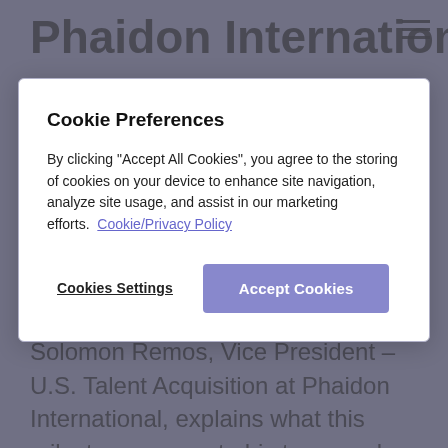Phaidon International's
Solomon Remos
Solomon Remos, Vice President – U.S. Talent Acquisition at Phaidon International, explains what this milestone means to his team and the wider business.
Cookie Preferences
By clicking "Accept All Cookies", you agree to the storing of cookies on your device to enhance site navigation, analyze site usage, and assist in our marketing efforts.  Cookie/Privacy Policy
Cookies Settings
Accept Cookies